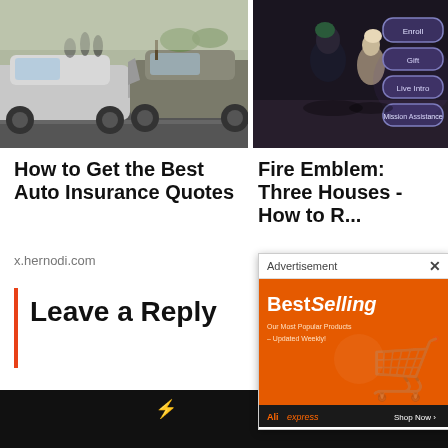[Figure (photo): Car crash / auto accident scene with two damaged vehicles in a parking lot, people visible in background]
[Figure (screenshot): Fire Emblem Three Houses video game screenshot showing characters and menu options: Enroll, Gift, Live Intro, Mission Assistance]
How to Get the Best Auto Insurance Quotes
Fire Emblem: Three Houses - How to R...
x.hernodi.com
Leave a Reply
Name
[Figure (screenshot): Advertisement popup overlay showing 'Best Selling - Our Most Popular Products Updated Weekly' on orange background with AliExpress branding and Shop Now button]